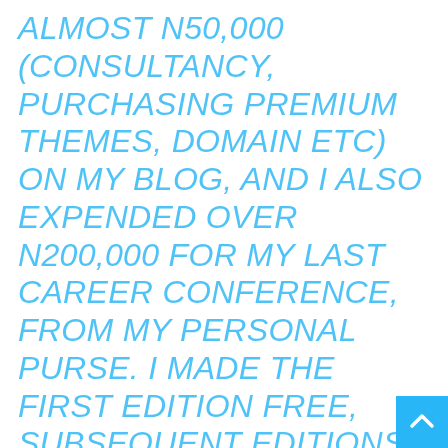ALMOST N50,000 (CONSULTANCY, PURCHASING PREMIUM THEMES, DOMAIN ETC) ON MY BLOG, AND I ALSO EXPENDED OVER N200,000 FOR MY LAST CAREER CONFERENCE, FROM MY PERSONAL PURSE. I MADE THE FIRST EDITION FREE, SUBSEQUENT EDITIONS WILL NOT BE. IN ANY VENTURE IN LIFE YOU HAVE TO INVEST FIRST.
THERE IS A GESTATION PERIOD FOR INVESTMENT, RETURNS DO NOT COME IMMEDIATELY. BUT I AM VERY POSITIVE THAT JARUSHUB IS GOING TO BECOME A MULTI-MILLION NAIRA VENTURE. I A...